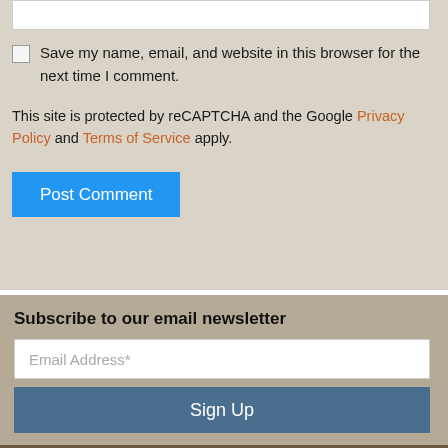Save my name, email, and website in this browser for the next time I comment.
This site is protected by reCAPTCHA and the Google Privacy Policy and Terms of Service apply.
Post Comment
Subscribe to our email newsletter
Email Address*
Sign Up